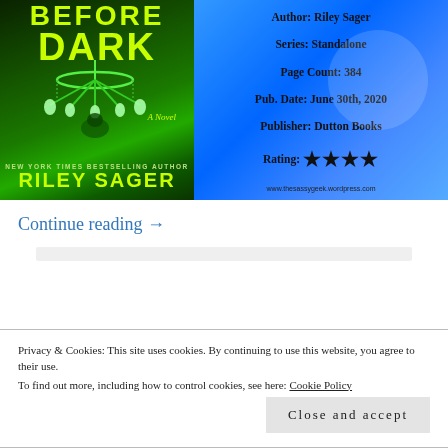[Figure (illustration): Book cover and info card. Left: dark green book cover showing 'BEFORE DARK' by Riley Sager with a glowing green chandelier, marked 'A Novel', 'New York Times Bestselling Author'. Right: blue info panel with author, series, page count, pub date, publisher, and 4-star rating.]
Continue reading →
Privacy & Cookies: This site uses cookies. By continuing to use this website, you agree to their use.
To find out more, including how to control cookies, see here:
Cookie Policy
Close and accept